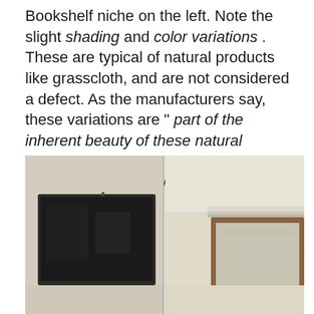Bookshelf niche on the left. Note the slight shading and color variations . These are typical of natural products like grasscloth, and are not considered a defect. As the manufacturers say, these variations are " part of the inherent beauty of these natural materials ." Shelves will go in these niches and decorative items will obscure these slight imperfections.
[Figure (photo): Two side-by-side photos: left shows a large flat-screen TV mounted on a light beige/cream grasscloth-covered wall; right shows a wooden-framed bookshelf niche on the same type of wall with crown molding at the top.]